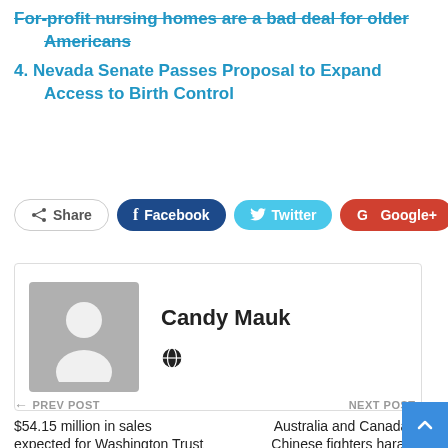For-profit nursing homes are a bad deal for older Americans
4. Nevada Senate Passes Proposal to Expand Access to Birth Control
Share Facebook Twitter Google+ +
[Figure (illustration): Author card with gray placeholder avatar and name Candy Mauk with a globe/website icon]
← PREV POST  $54.15 million in sales expected for Washington Trust Bancorp, Inc.
NEXT POST →  Australia and Canada say Chinese fighters harassed their patrol planes